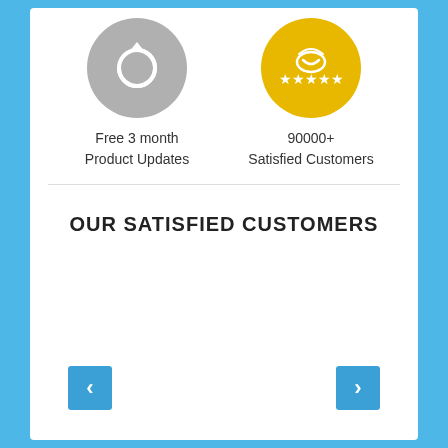[Figure (infographic): Gray circle icon with refresh/update symbol representing Free 3 month Product Updates]
Free 3 month
Product Updates
[Figure (infographic): Yellow/gold circle icon with crown and stars representing 90000+ Satisfied Customers]
90000+
Satisfied Customers
OUR SATISFIED CUSTOMERS
[Figure (other): Left navigation arrow button]
[Figure (other): Right navigation arrow button]